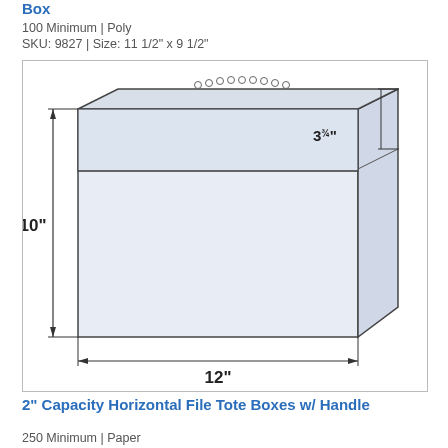Box
100 Minimum | Poly
SKU: 9827 | Size: 11 1/2" x 9 1/2"
[Figure (engineering-diagram): Technical line drawing of a horizontal file tote box with a handle on top. Dimensions labeled: 10" height, 12" width, 3 3/4" flap depth, 2" Capacity on the right side.]
2" Capacity Horizontal File Tote Boxes w/ Handle
250 Minimum | Paper